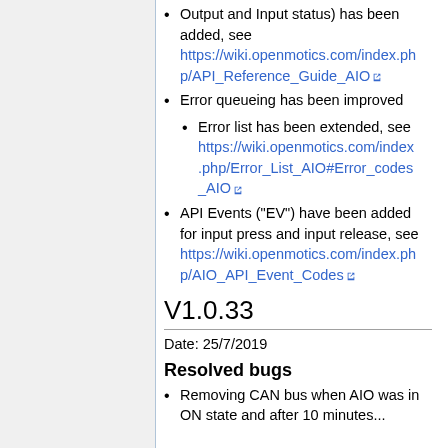Output and Input status) has been added, see https://wiki.openmotics.com/index.php/API_Reference_Guide_AIO
Error queueing has been improved
Error list has been extended, see https://wiki.openmotics.com/index.php/Error_List_AIO#Error_codes_AIO
API Events ("EV") have been added for input press and input release, see https://wiki.openmotics.com/index.php/AIO_API_Event_Codes
V1.0.33
Date: 25/7/2019
Resolved bugs
Removing CAN bus when AIO was in ON state and after 10 minutes...